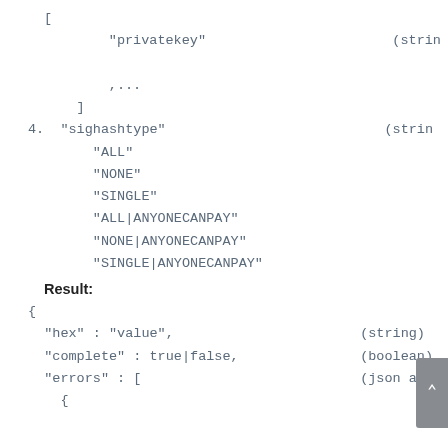[
        "privatekey"                       (string

        ,...
    ]
4. "sighashtype"                           (string
        "ALL"
        "NONE"
        "SINGLE"
        "ALL|ANYONECANPAY"
        "NONE|ANYONECANPAY"
        "SINGLE|ANYONECANPAY"
Result:
{
  "hex" : "value",                       (string)
  "complete" : true|false,               (boolean)
  "errors" : [                           (json arr
    {